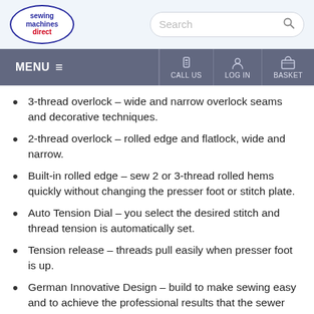sewing machines direct — Search bar — MENU — CALL US — LOG IN — BASKET
3-thread overlock – wide and narrow overlock seams and decorative techniques.
2-thread overlock – rolled edge and flatlock, wide and narrow.
Built-in rolled edge – sew 2 or 3-thread rolled hems quickly without changing the presser foot or stitch plate.
Auto Tension Dial – you select the desired stitch and thread tension is automatically set.
Tension release – threads pull easily when presser foot is up.
German Innovative Design – build to make sewing easy and to achieve the professional results that the sewer wants.
Easy to change from overlock stitches to coverstitches - No needle plate/presser foot change